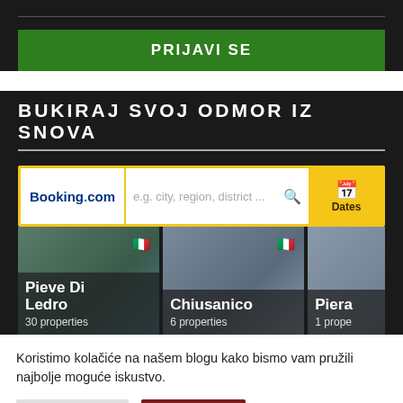[Figure (screenshot): Green login button labeled PRIJAVI SE on dark background]
BUKIRAJ SVOJ ODMOR IZ SNOVA
[Figure (screenshot): Booking.com search widget with text input 'e.g. city, region, district ...' and Dates button, followed by property cards: Pieve Di Ledro (30 properties), Chiusanico (6 properties), Piera (1 prope...)]
Koristimo kolačiće na našem blogu kako bismo vam pružili najbolje moguće iskustvo.
Podešavanja
Prihvati sve